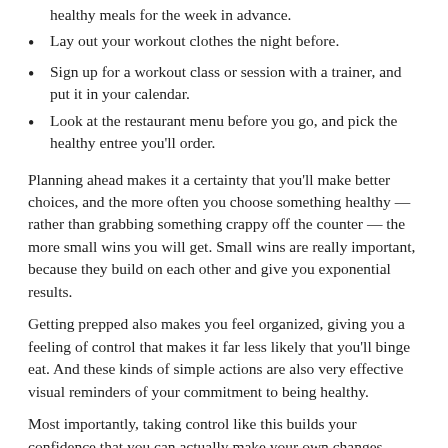healthy meals for the week in advance.
Lay out your workout clothes the night before.
Sign up for a workout class or session with a trainer, and put it in your calendar.
Look at the restaurant menu before you go, and pick the healthy entree you'll order.
Planning ahead makes it a certainty that you'll make better choices, and the more often you choose something healthy — rather than grabbing something crappy off the counter — the more small wins you will get. Small wins are really important, because they build on each other and give you exponential results.
Getting prepped also makes you feel organized, giving you a feeling of control that makes it far less likely that you'll binge eat. And these kinds of simple actions are also very effective visual reminders of your commitment to being healthy.
Most importantly, taking control like this builds your confidence that you can actually make your own changes, instead of having to rely on a diet to tell you what to do. Taking control pulls you out of the dieting-failure downward spiral that erodes your confidence and keeps you stuck.